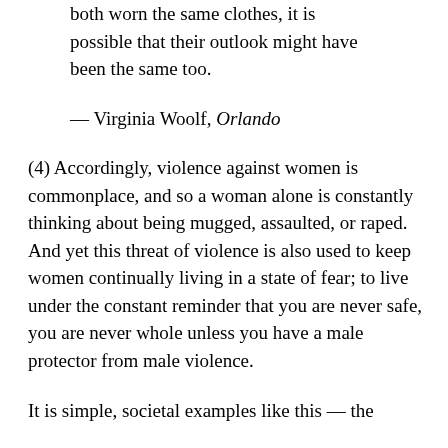both worn the same clothes, it is possible that their outlook might have been the same too.
— Virginia Woolf, Orlando
(4) Accordingly, violence against women is commonplace, and so a woman alone is constantly thinking about being mugged, assaulted, or raped. And yet this threat of violence is also used to keep women continually living in a state of fear; to live under the constant reminder that you are never safe, you are never whole unless you have a male protector from male violence.
It is simple, societal examples like this — the